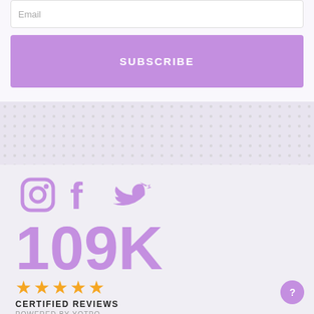Email
SUBSCRIBE
[Figure (illustration): Dotted pattern separator band]
[Figure (illustration): Social media icons: Instagram, Facebook, Twitter in purple]
109K
[Figure (illustration): Four and a half gold stars rating]
CERTIFIED REVIEWS
POWERED BY YOTPO
[Figure (illustration): Purple circular help button with question mark]